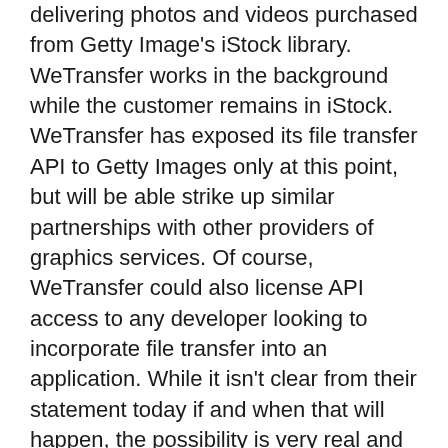delivering photos and videos purchased from Getty Image's iStock library. WeTransfer works in the background while the customer remains in iStock. WeTransfer has exposed its file transfer API to Getty Images only at this point, but will be able strike up similar partnerships with other providers of graphics services. Of course, WeTransfer could also license API access to any developer looking to incorporate file transfer into an application. While it isn't clear from their statement today if and when that will happen, the possibility is very real and quite compelling. It's important to note that both Box and Dropbox have made their file sharing APIs commercially available to developers for several months now, so WeTransfer is playing catch up in this regard. However, WeTransfer has emphasized file sharing almost exclusively since its founding in 2009 as a web-based service that only stores a file being shared for seven days before